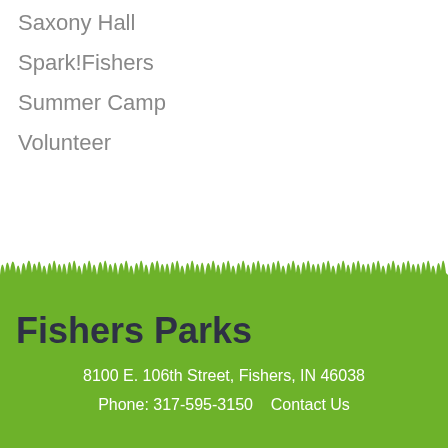Saxony Hall
Spark!Fishers
Summer Camp
Volunteer
[Figure (illustration): Green grass silhouette illustration forming a decorative horizontal band]
Fishers Parks
8100 E. 106th Street, Fishers, IN 46038
Phone: 317-595-3150    Contact Us